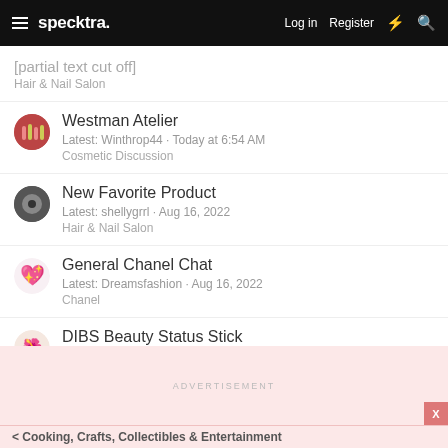specktra. | Log in | Register
[partial title] Hair & Nail Salon
Westman Atelier
Latest: Winthrop44 · Today at 6:54 AM
Cosmetic Discussion
New Favorite Product
Latest: shellygrrl · Aug 16, 2022
Hair & Nail Salon
General Chanel Chat
Latest: Dreamsfashion · Aug 16, 2022
Chanel
DIBS Beauty Status Stick
Latest: Dawn · Aug 15, 2022
Cosmetic Discussion
ADVERTISEMENT
< Cooking, Crafts, Collectibles & Entertainment